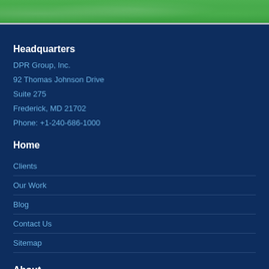Headquarters
DPR Group, Inc.
92 Thomas Johnson Drive
Suite 275
Frederick, MD 21702
Phone: +1-240-686-1000
Home
Clients
Our Work
Blog
Contact Us
Sitemap
About
Our Company